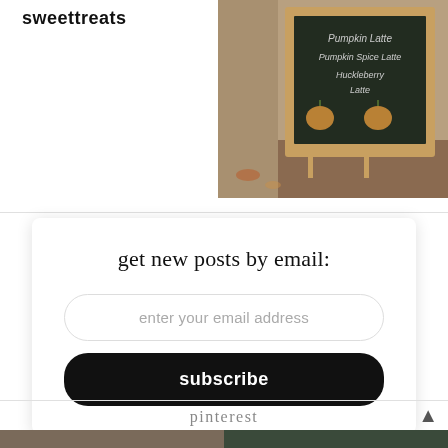sweettreats
[Figure (photo): Outdoor chalkboard sign listing pumpkin latte drinks, leaning against a stone wall on a brick patio]
get new posts by email:
enter your email address
subscribe
pinterest
[Figure (photo): Two partial images at the bottom: left shows a warm-toned photo, right shows a dark green-toned photo]